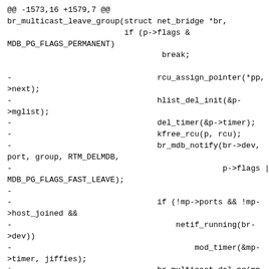[Figure (screenshot): A code diff snippet showing changes to br_multicast_leave_group function in Linux kernel networking code. Lines prefixed with '-' are removed and lines prefixed with '+' are added. Shows removal of rcu_assign_pointer, hlist_del_init, del_timer, kfree_rcu, br_mdb_notify calls and replacement with br_multicast_del_pg. Ends with a diff --git line for br_private.h in blue.]